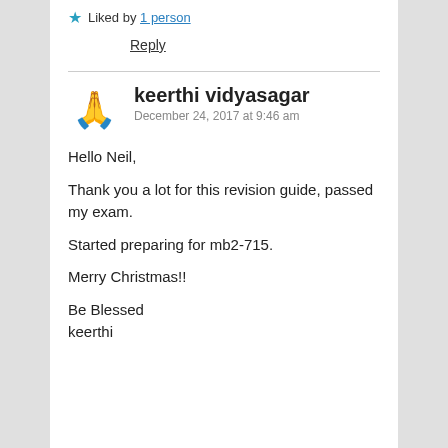Liked by 1 person
Reply
keerthi vidyasagar
December 24, 2017 at 9:46 am
Hello Neil,
Thank you a lot for this revision guide, passed my exam.
Started preparing for mb2-715.
Merry Christmas!!
Be Blessed
keerthi